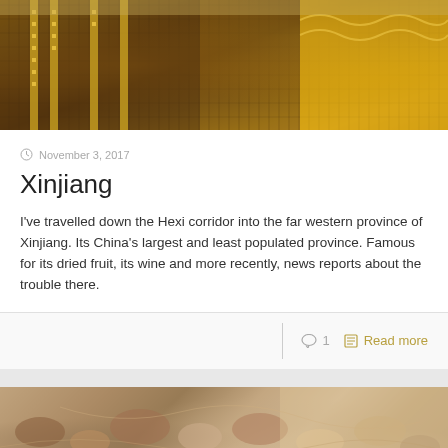[Figure (photo): Photo of people wearing traditional Central Asian/Uyghur costumes in brown and gold embroidered fabric with yellow garments]
November 3, 2017
Xinjiang
I've travelled down the Hexi corridor into the far western province of Xinjiang. Its China's largest and least populated province. Famous for its dried fruit, its wine and more recently, news reports about the trouble there.
1   Read more
[Figure (photo): Photo of dried fruits or spices at a market in Xinjiang]